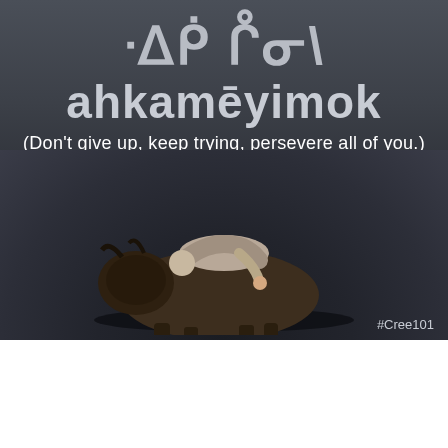[Figure (photo): Dark moody background image showing a person lying draped over a resting bison/buffalo in a flat dark landscape. Above the scene are Cree syllabics text, the romanized word 'ahkamēyimok', and a translation. Hashtag #Cree101 in bottom right corner.]
[Figure (photo): Sunset/sunrise sky image with warm golden and orange tones, with 'Life is Good' text in bold handwritten style overlaid.]